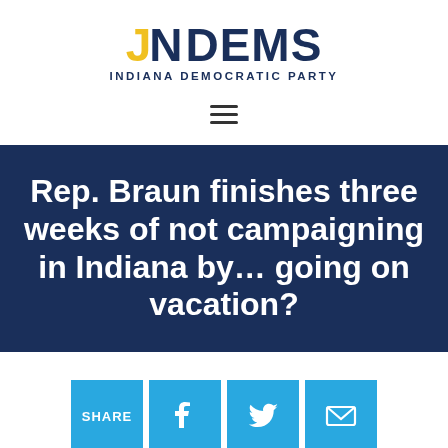[Figure (logo): Indiana Democratic Party logo: 'IN DEMS' with 'IN' in gold and navy, 'DEMS' in navy, subtitle 'INDIANA DEMOCRATIC PARTY']
[Figure (other): Hamburger menu icon (three horizontal lines)]
Rep. Braun finishes three weeks of not campaigning in Indiana by… going on vacation?
[Figure (infographic): Share button row with SHARE, Facebook, Twitter, and Email icons in light blue squares]